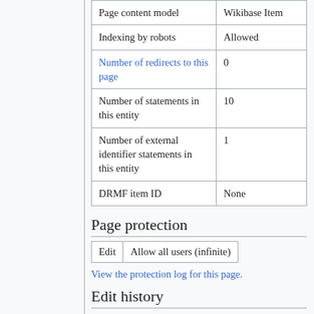| Property | Value |
| --- | --- |
| Page content model | Wikibase Item |
| Indexing by robots | Allowed |
| Number of redirects to this page | 0 |
| Number of statements in this entity | 10 |
| Number of external identifier statements in this entity | 1 |
| DRMF item ID | None |
Page protection
| Edit | Allow all users (infinite) |
| --- | --- |
View the protection log for this page.
Edit history